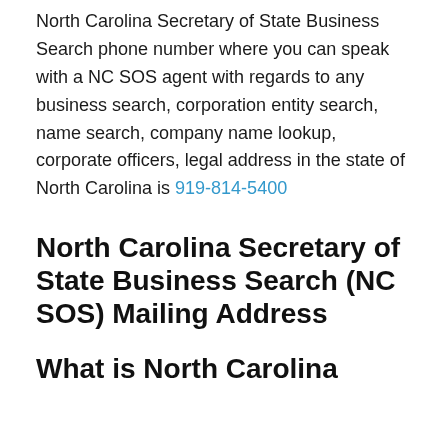North Carolina Secretary of State Business Search phone number where you can speak with a NC SOS agent with regards to any business search, corporation entity search, name search, company name lookup, corporate officers, legal address in the state of North Carolina is 919-814-5400
North Carolina Secretary of State Business Search (NC SOS) Mailing Address
What is North Carolina